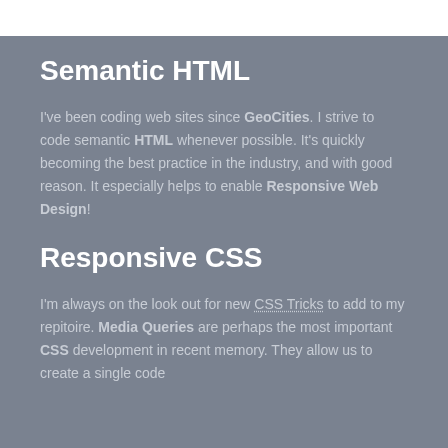Semantic HTML
I've been coding web sites since GeoCities. I strive to code semantic HTML whenever possible. It's quickly becoming the best practice in the industry, and with good reason. It especially helps to enable Responsive Web Design!
Responsive CSS
I'm always on the look out for new CSS Tricks to add to my repitoire. Media Queries are perhaps the most important CSS development in recent memory. They allow us to create a single code